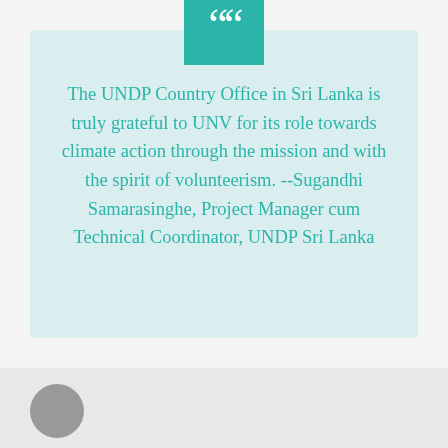The UNDP Country Office in Sri Lanka is truly grateful to UNV for its role towards climate action through the mission and with the spirit of volunteerism. --Sugandhi Samarasinghe, Project Manager cum Technical Coordinator, UNDP Sri Lanka